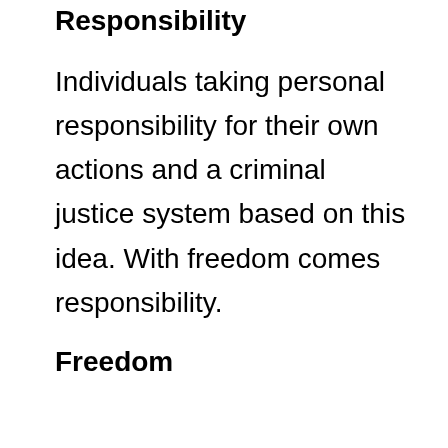Responsibility
Individuals taking personal responsibility for their own actions and a criminal justice system based on this idea. With freedom comes responsibility.
Freedom